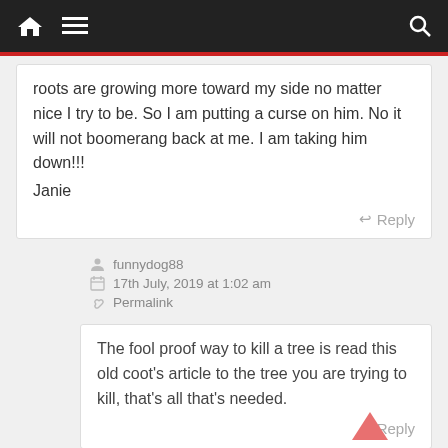Navigation bar with home, menu, and search icons
roots are growing more toward my side no matter nice I try to be. So I am putting a curse on him. No it will not boomerang back at me. I am taking him down!!!
Janie
Reply
funnydog88
17th July, 2019 at 1:02 am
Permalink
The fool proof way to kill a tree is read this old coot's article to the tree you are trying to kill, that's all that's needed.
Reply